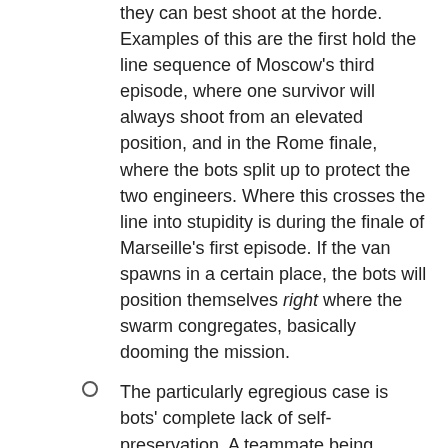they can best shoot at the horde. Examples of this are the first hold the line sequence of Moscow's third episode, where one survivor will always shoot from an elevated position, and in the Rome finale, where the bots split up to protect the two engineers. Where this crosses the line into stupidity is during the finale of Marseille's first episode. If the van spawns in a certain place, the bots will position themselves right where the swarm congregates, basically dooming the mission.
The particularly egregious case is bots' complete lack of self-preservation. A teammate being overrun and thus pinned to the ground by a running horde? A human player will continue shooting at the horde, to either stop it or thin down the crowd, knowing they have more than enough time. Or even sacrifice a team-mate, just to stop the horde and/or finish the level. A bot? Stop shooting, abandon possibly safe position and rush to their direction of the pinned down character, right in the middle of the advancing horde.